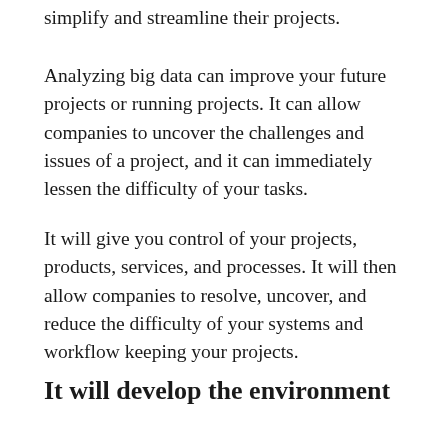simplify and streamline their projects.
Analyzing big data can improve your future projects or running projects. It can allow companies to uncover the challenges and issues of a project, and it can immediately lessen the difficulty of your tasks.
It will give you control of your projects, products, services, and processes. It will then allow companies to resolve, uncover, and reduce the difficulty of your systems and workflow keeping your projects.
It will develop the environment